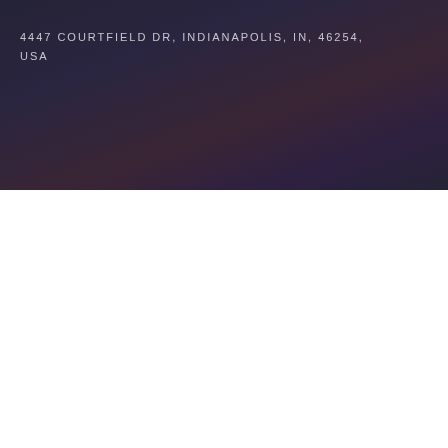4447 COURTFIELD DR, INDIANAPOLIS, IN, 46254, USA